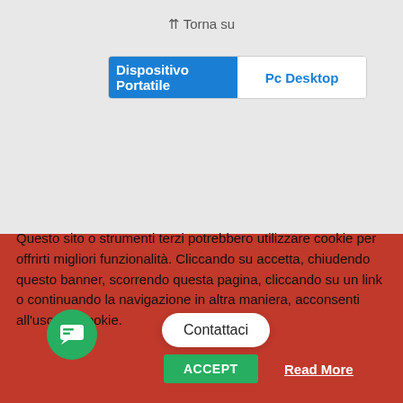⇈ Torna su
Dispositivo Portatile    Pc Desktop
Questo sito o strumenti terzi potrebbero utilizzare cookie per offrirti migliori funzionalità. Cliccando su accetta, chiudendo questo banner, scorrendo questa pagina, cliccando su un link o continuando la navigazione in altra maniera, acconsenti all'uso dei cookie.
ACCEPT
Read More
Contattaci